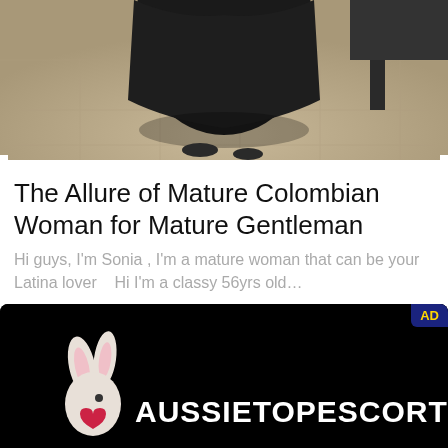[Figure (photo): Partial photo of a person in a dark long dress/skirt standing on a tiled floor, lower body visible only]
The Allure of Mature Colombian Woman for Mature Gentleman
Hi guys, I'm Sonia , I'm a mature woman that can be your Latina lover   Hi I'm a classy 56yrs old…
[Figure (logo): AussieTopEscorts advertisement banner with rabbit logo on black background]